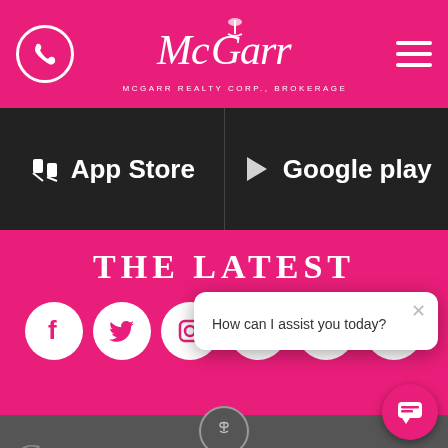McGarr Realty Corp., Brokerage
[Figure (screenshot): App Store and Google Play download buttons on dark background]
THE LATEST
[Figure (infographic): Social media icons: Facebook, Twitter, Instagram, Google+, LinkedIn, YouTube on pink background]
Co[ntact]
ST. CATHARINES OFFICE
5 St. Paul Crescent
St. Catharines, ON
L2R 3P6
[Figure (screenshot): Chat popup: How can I assist you today?]